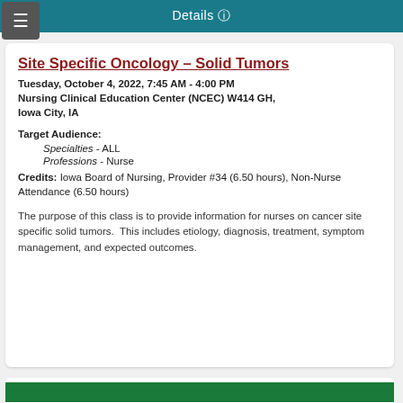Details
Site Specific Oncology – Solid Tumors
Tuesday, October 4, 2022, 7:45 AM - 4:00 PM
Nursing Clinical Education Center (NCEC) W414 GH, Iowa City, IA
Target Audience:
Specialties - ALL
Professions - Nurse
Credits: Iowa Board of Nursing, Provider #34 (6.50 hours), Non-Nurse Attendance (6.50 hours)
The purpose of this class is to provide information for nurses on cancer site specific solid tumors.  This includes etiology, diagnosis, treatment, symptom management, and expected outcomes.